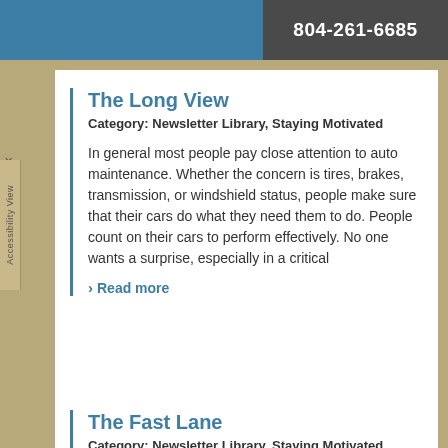804-261-6685
The Long View
Category: Newsletter Library, Staying Motivated
In general most people pay close attention to auto maintenance. Whether the concern is tires, brakes, transmission, or windshield status, people make sure that their cars do what they need them to do. People count on their cars to perform effectively. No one wants a surprise, especially in a critical
Read more
The Fast Lane
Category: Newsletter Library, Staying Motivated